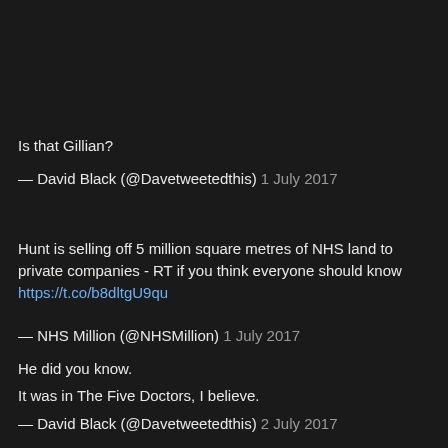Is that Gillian?
— David Black (@Davetweetedthis) 1 July 2017
Hunt is selling off 5 million square metres of NHS land to private companies - RT if you think everyone should know https://t.co/b8dltgU9qu
— NHS Million (@NHSMillion) 1 July 2017
He did you know.
It was in The Five Doctors, I believe.
— David Black (@Davetweetedthis) 2 July 2017